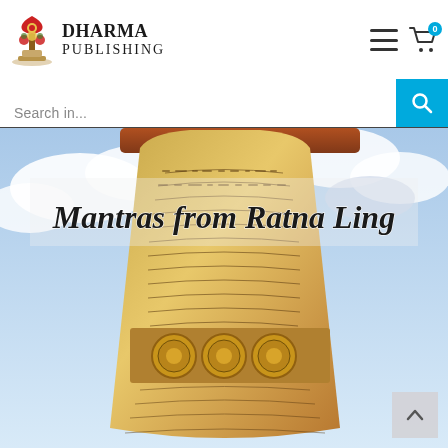[Figure (logo): Dharma Publishing logo: stylized Tibetan stupa/tree illustration in red and gold with text 'Dharma Publishing']
[Figure (screenshot): Navigation icons: hamburger menu and shopping cart with blue badge showing 0]
[Figure (screenshot): Search bar with placeholder text 'Search in...' and blue search button]
[Figure (photo): Large bronze Tibetan prayer bell/vessel engraved with Tibetan script mantras and decorative medallions, against a bright cloudy sky background. Title overlay reads 'Mantras from Ratna Ling' in italic serif font.]